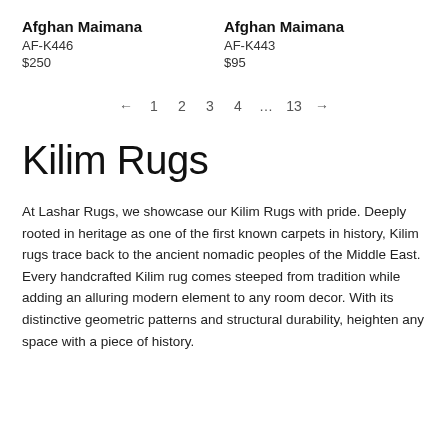Afghan Maimana
AF-K446
$250
Afghan Maimana
AF-K443
$95
← 1 2 3 4 … 13 →
Kilim Rugs
At Lashar Rugs, we showcase our Kilim Rugs with pride. Deeply rooted in heritage as one of the first known carpets in history, Kilim rugs trace back to the ancient nomadic peoples of the Middle East. Every handcrafted Kilim rug comes steeped from tradition while adding an alluring modern element to any room decor. With its distinctive geometric patterns and structural durability, heighten any space with a piece of history.